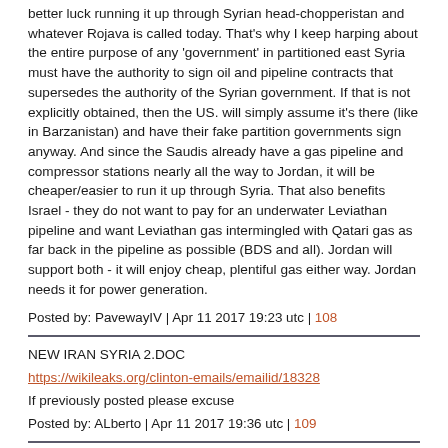better luck running it up through Syrian head-chopperistan and whatever Rojava is called today. That's why I keep harping about the entire purpose of any 'government' in partitioned east Syria must have the authority to sign oil and pipeline contracts that supersedes the authority of the Syrian government. If that is not explicitly obtained, then the US. will simply assume it's there (like in Barzanistan) and have their fake partition governments sign anyway. And since the Saudis already have a gas pipeline and compressor stations nearly all the way to Jordan, it will be cheaper/easier to run it up through Syria. That also benefits Israel - they do not want to pay for an underwater Leviathan pipeline and want Leviathan gas intermingled with Qatari gas as far back in the pipeline as possible (BDS and all). Jordan will support both - it will enjoy cheap, plentiful gas either way. Jordan needs it for power generation.
Posted by: PavewayIV | Apr 11 2017 19:23 utc | 108
NEW IRAN SYRIA 2.DOC
https://wikileaks.org/clinton-emails/emailid/18328
If previously posted please excuse
Posted by: ALberto | Apr 11 2017 19:36 utc | 109